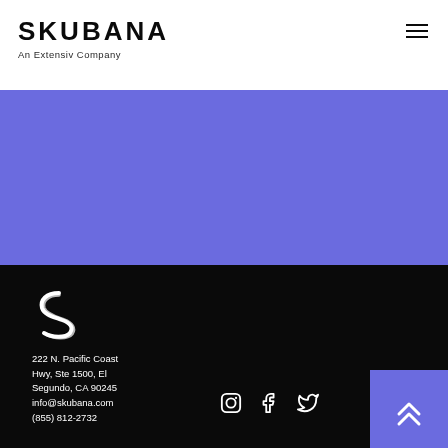SKUBANA — An Extensiv Company
[Figure (illustration): Blue/purple banner section]
[Figure (logo): Skubana white S-shaped logo mark on dark background]
222 N. Pacific Coast Hwy, Ste 1500, El Segundo, CA 90245
info@skubana.com
(855) 812-2732
[Figure (illustration): Social media icons: Instagram, Facebook, Twitter]
[Figure (illustration): Purple scroll-to-top button with double chevron up arrow]